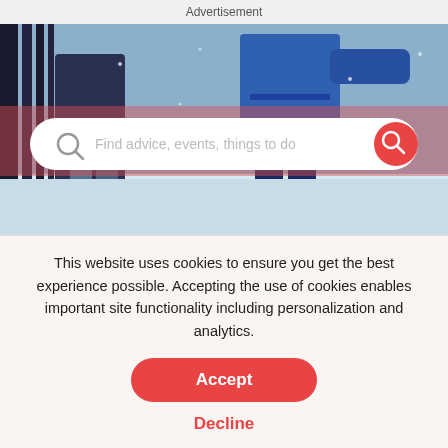Advertisement
[Figure (photo): Children playing in snow wearing winter jackets, with a search bar overlay on a red/pink background strip]
By April Sutphen
Tinybeans Voices Contributor
This website uses cookies to ensure you get the best experience possible. Accepting the use of cookies enables important site functionality including personalization and analytics.
Accept
Decline